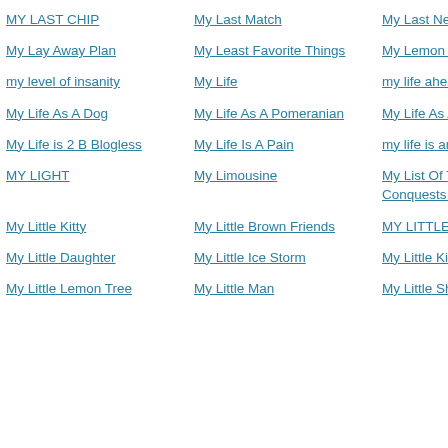MY LAST CHIP
My Last Match
My Last Nerve
My Lay Away Plan
My Least Favorite Things
My Lemon Stella
my level of insanity
My Life
my life ahead
My Life As A Dog
My Life As A Pomeranian
My Life As A Tumor
My Life is 2 B Blogless
My Life Is A Pain
my life is an
MY LIGHT
My Limousine
My List Of The Total Conquests Made Sex By Me
My Little Kitty
My Little Brown Friends
MY LITTLE CREEPY DUDE
My Little Daughter
My Little Ice Storm
My Little Kitty aka Nar Trends
My Little Lemon Tree
My Little Man
My Little Shadow